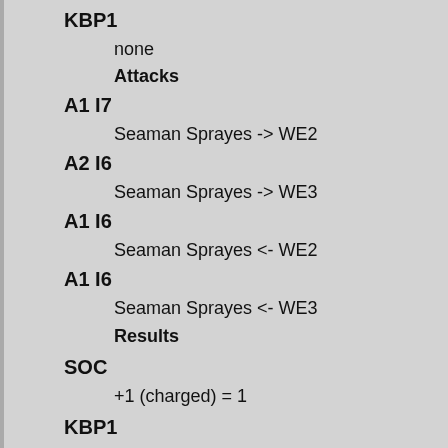KBP1
none
Attacks
A1 I7
Seaman Sprayes -> WE2
A2 I6
Seaman Sprayes -> WE3
A1 I6
Seaman Sprayes <- WE2
A1 I6
Seaman Sprayes <- WE3
Results
SOC
+1 (charged) = 1
KBP1
+1 (ranks) = 1
Round 2
Modifiers
SOC
hatrod